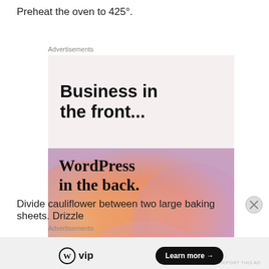Preheat the oven to 425°.
Advertisements
[Figure (infographic): WordPress VIP advertisement banner. Top half has light pink/beige background with bold text 'Business in the front...' and bottom half has orange-pink gradient background with serif text 'WordPress in the back.' with a WordPress W VIP logo and a 'Learn more →' button.]
REPORT THIS AD
Divide cauliflower between two large baking sheets. Drizzle
Advertisements
REPORT THIS AD